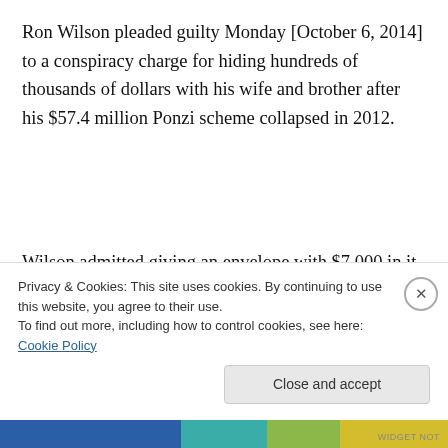Ron Wilson pleaded guilty Monday [October 6, 2014] to a conspiracy charge for hiding hundreds of thousands of dollars with his wife and brother after his $57.4 million Ponzi scheme collapsed in 2012.
Wilson admitted giving an envelope with $7,000 in it, as well as ammunition canisters with $164,300 and $172,859 to his brother and his estranged wife for holding in case he
Privacy & Cookies: This site uses cookies. By continuing to use this website, you agree to their use.
To find out more, including how to control cookies, see here: Cookie Policy
Close and accept